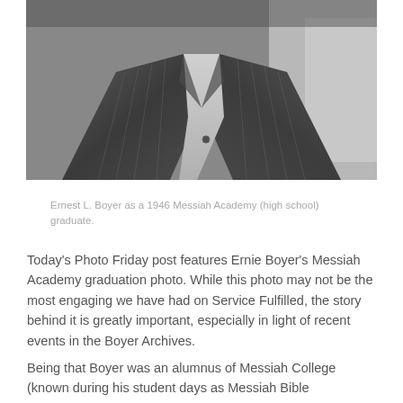[Figure (photo): Black and white photograph of Ernest L. Boyer as a 1946 Messiah Academy high school graduate, showing upper torso in a suit jacket.]
Ernest L. Boyer as a 1946 Messiah Academy (high school) graduate.
Today's Photo Friday post features Ernie Boyer's Messiah Academy graduation photo. While this photo may not be the most engaging we have had on Service Fulfilled, the story behind it is greatly important, especially in light of recent events in the Boyer Archives.
Being that Boyer was an alumnus of Messiah College (known during his student days as Messiah Bible